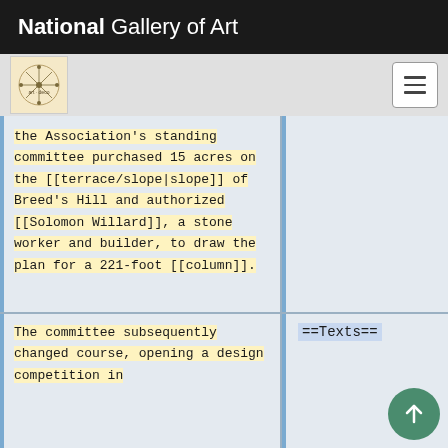National Gallery of Art
[Figure (logo): Small circular logo with compass/star design on cream background]
the Association's standing committee purchased 15 acres on the [[terrace/slope|slope]] of Breed's Hill and authorized [[Solomon Willard]], a stone worker and builder, to draw the plan for a 221-foot [[column]].
The committee subsequently changed course, opening a design competition in
==Texts==